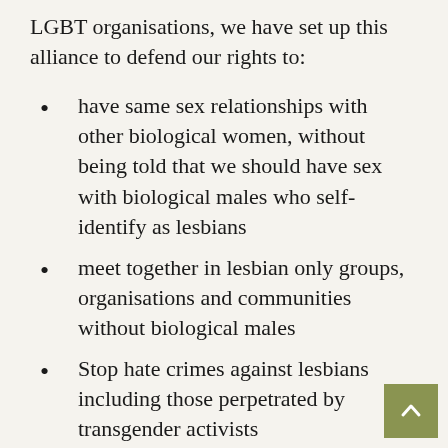LGBT organisations, we have set up this alliance to defend our rights to:
have same sex relationships with other biological women, without being told that we should have sex with biological males who self-identify as lesbians
meet together in lesbian only groups, organisations and communities without biological males
Stop hate crimes against lesbians including those perpetrated by transgender activists
End the erasure of gender non-conforming lesbians that is being carried out via transgender policies and practices in schools and the NHS